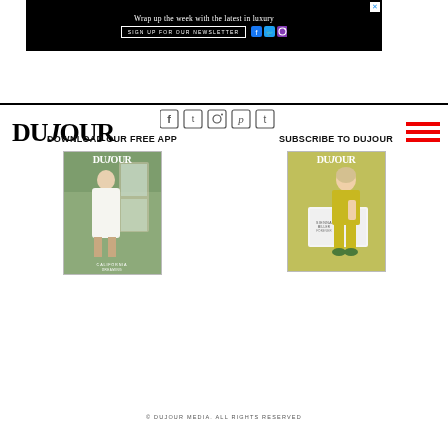[Figure (other): Black advertisement banner: 'Wrap up the week with the latest in luxury' with SIGN UP FOR OUR NEWSLETTER button and social media icons]
[Figure (logo): DUJOUR magazine logo in large serif font]
[Figure (other): Red hamburger menu icon (three horizontal red lines)]
[Figure (other): Row of social media icons: Facebook, Twitter, Instagram, Pinterest, Tumblr]
DOWNLOAD OUR FREE APP
[Figure (photo): DuJour magazine cover showing a woman in white, with text DUJOUR and cover lines]
SUBSCRIBE TO DUJOUR
[Figure (photo): DuJour magazine cover showing a woman in yellow outfit sitting at a table]
© DUJOUR MEDIA. ALL RIGHTS RESERVED